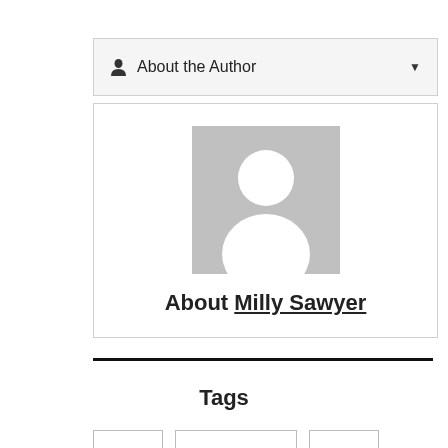About the Author
[Figure (illustration): Author card with generic placeholder avatar silhouette and text 'About Milly Sawyer']
About Milly Sawyer
Tags